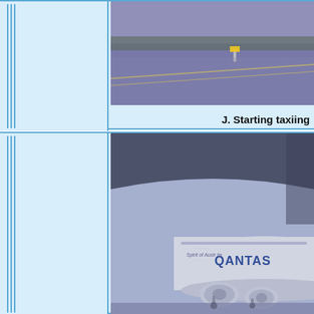[Figure (photo): Aerial view of an airport runway/taxiway with a blue/purple tint, showing a lone sign or marker on the tarmac with yellow lines visible.]
J. Starting taxiing
[Figure (photo): Photo of a Qantas Boeing 747 'Spirit of Australia' aircraft on a taxiway, viewed from inside through a window frame. The aircraft livery shows 'QANTAS' in large letters. Blue/purple tint.]